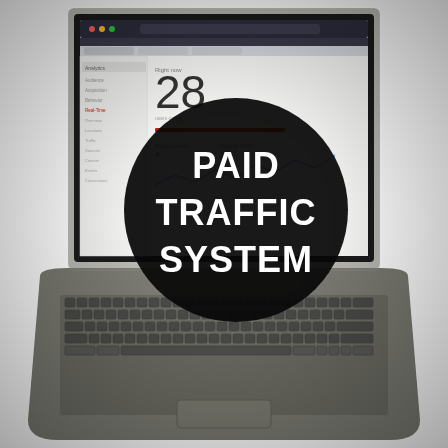[Figure (photo): A laptop displaying an analytics/traffic dashboard on its screen, photographed at an angle. Overlaid on the screen is a large black circle with white bold text reading 'PAID TRAFFIC SYSTEM'.]